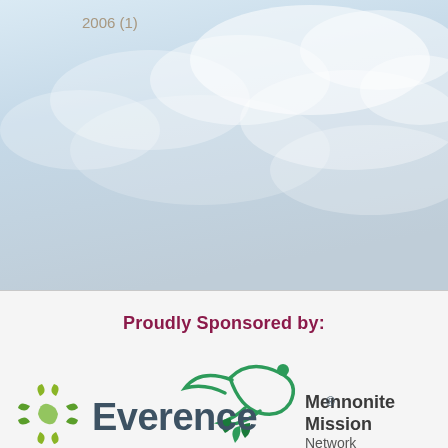[Figure (photo): Sky/cloud background photo occupying the top portion of the page]
2006 (1)
Proudly Sponsored by:
[Figure (logo): Mennonite Mission Network logo with green bird/dove graphic and text]
[Figure (logo): Everence logo with green floral/leaf graphic and Everence wordmark with registered trademark symbol]